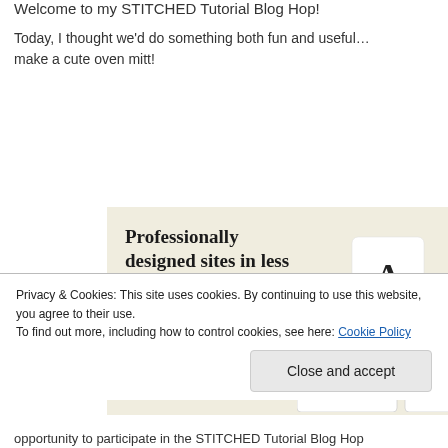Welcome to my STITCHED Tutorial Blog Hop!
Today, I thought we'd do something both fun and useful… make a cute oven mitt!
[Figure (screenshot): Advertisement banner with beige background. Heading reads 'Professionally designed sites in less than a week' with a green 'Explore options' button and a mockup screenshot of website designs on the right.]
Privacy & Cookies: This site uses cookies. By continuing to use this website, you agree to their use.
To find out more, including how to control cookies, see here: Cookie Policy
Close and accept
opportunity to participate in the STITCHED Tutorial Blog Hop